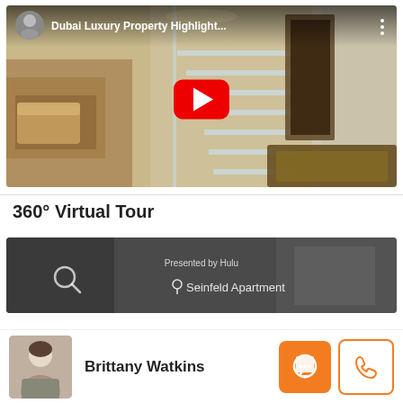[Figure (screenshot): YouTube video thumbnail showing a luxury Dubai property interior with a spiral glass staircase. Video title: 'Dubai Luxury Property Highlight...' with play button overlay.]
360° Virtual Tour
[Figure (screenshot): 360° virtual tour thumbnail showing an interior with overlay text 'Presented by Hulu' and 'Seinfeld Apartment' with a search icon.]
Brittany Watkins